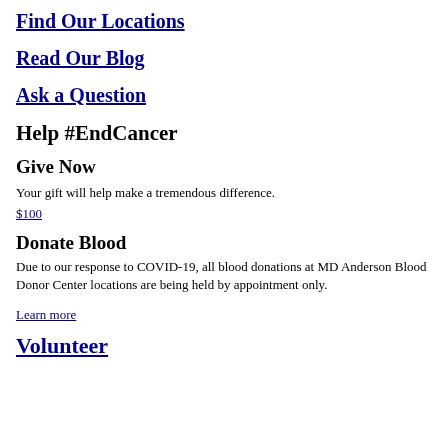Find Our Locations
Read Our Blog
Ask a Question
Help #EndCancer
Give Now
Your gift will help make a tremendous difference.
$100
Donate Blood
Due to our response to COVID-19, all blood donations at MD Anderson Blood Donor Center locations are being held by appointment only.
Learn more
Volunteer